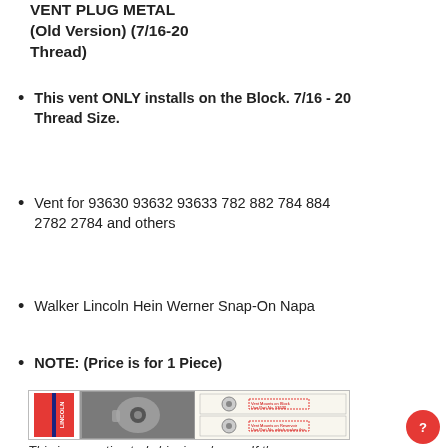VENT PLUG METAL (Old Version) (7/16-20 Thread)
This vent ONLY installs on the Block. 7/16 - 20 Thread Size.
Vent for 93630 93632 93633 782 882 784 884 2782 2784 and others
Walker Lincoln Hein Werner Snap-On Napa
NOTE: (Price is for 1 Piece)
[Figure (photo): Lincoln branded product image showing a metal vent plug component with a diagram showing installation locations on Block and Reservoir]
This is our estimated shipping charge. If the